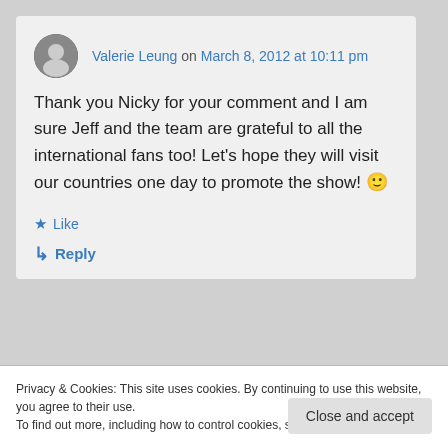Valerie Leung on March 8, 2012 at 10:11 pm
Thank you Nicky for your comment and I am sure Jeff and the team are grateful to all the international fans too! Let’s hope they will visit our countries one day to promote the show! 🙂
★ Like
↳ Reply
Privacy & Cookies: This site uses cookies. By continuing to use this website, you agree to their use.
To find out more, including how to control cookies, see here: Cookie Policy
Close and accept